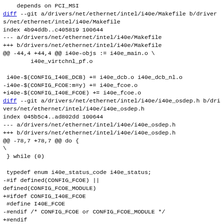depends on PCI_MSI
diff --git a/drivers/net/ethernet/intel/i40e/Makefile b/drivers/net/ethernet/intel/i40e/Makefile
index 4b94ddb..c405819 100644
--- a/drivers/net/ethernet/intel/i40e/Makefile
+++ b/drivers/net/ethernet/intel/i40e/Makefile
@@ -44,4 +44,4 @@ i40e-objs := i40e_main.o \
        i40e_virtchnl_pf.o

 i40e-$(CONFIG_I40E_DCB) += i40e_dcb.o i40e_dcb_nl.o
-i40e-$(CONFIG_FCOE:m=y) += i40e_fcoe.o
+i40e-$(CONFIG_I40E_FCOE) += i40e_fcoe.o
diff --git a/drivers/net/ethernet/intel/i40e/i40e_osdep.h b/drivers/net/ethernet/intel/i40e/i40e_osdep.h
index 045b5c4..ad802dd 100644
--- a/drivers/net/ethernet/intel/i40e/i40e_osdep.h
+++ b/drivers/net/ethernet/intel/i40e/i40e_osdep.h
@@ -78,7 +78,7 @@ do {
\
 } while (0)

 typedef enum i40e_status_code i40e_status;
-#if defined(CONFIG_FCOE) ||
defined(CONFIG_FCOE_MODULE)
+#ifdef CONFIG_I40E_FCOE
 #define I40E_FCOE
-#endif /* CONFIG_FCOE or CONFIG_FCOE_MODULE */
+#endif
 #endif /* _I40E_OSDEP_H_ */